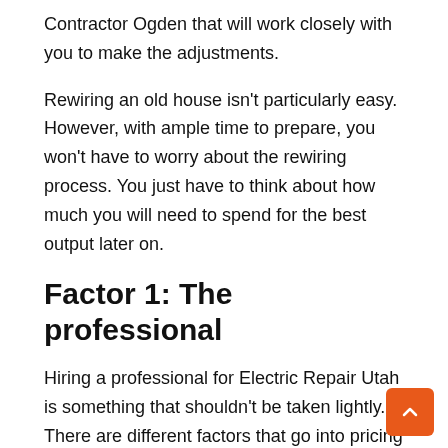Contractor Ogden that will work closely with you to make the adjustments.
Rewiring an old house isn't particularly easy. However, with ample time to prepare, you won't have to worry about the rewiring process. You just have to think about how much you will need to spend for the best output later on.
Factor 1: The professional
Hiring a professional for Electric Repair Utah is something that shouldn't be taken lightly. There are different factors that go into pricing when hiring a professional. You will have to take into consideration the labor, the upgrades that they